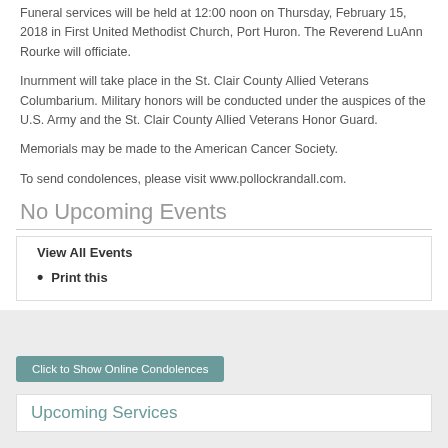Funeral services will be held at 12:00 noon on Thursday, February 15, 2018 in First United Methodist Church, Port Huron. The Reverend LuAnn Rourke will officiate.
Inurnment will take place in the St. Clair County Allied Veterans Columbarium. Military honors will be conducted under the auspices of the U.S. Army and the St. Clair County Allied Veterans Honor Guard.
Memorials may be made to the American Cancer Society.
To send condolences, please visit www.pollockrandall.com.
No Upcoming Events
View All Events
Print this
Click to Show Online Condolences
Upcoming Services